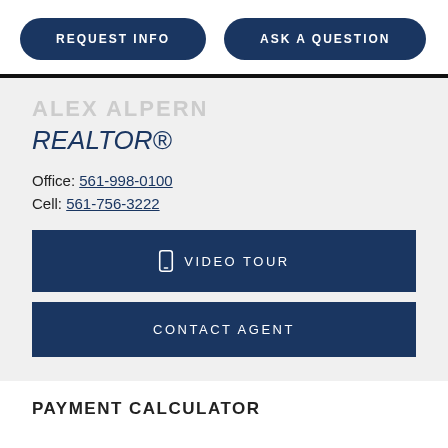[Figure (other): Two pill-shaped dark navy buttons: REQUEST INFO and ASK A QUESTION]
ALEX ALPERN
REALTOR®
Office: 561-998-0100
Cell: 561-756-3222
[Figure (other): Dark navy full-width button with phone icon: VIDEO TOUR]
[Figure (other): Dark navy full-width button: CONTACT AGENT]
PAYMENT CALCULATOR